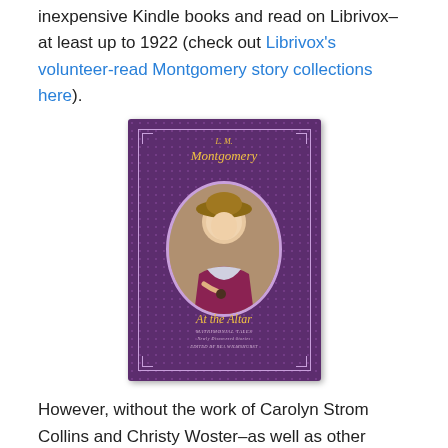inexpensive Kindle books and read on Librivox–at least up to 1922 (check out Librivox's volunteer-read Montgomery story collections here).
[Figure (photo): Book cover of 'At the Altar: Matrimonial Tales' by L.M. Montgomery, edited by Rea Wilmshurst. Purple cover with dot pattern, gold script title and author name, oval portrait of a woman in period clothing with a large hat.]
However, without the work of Carolyn Strom Collins and Christy Woster–as well as other editors that work with them and came before them–these stories would be lost to us.